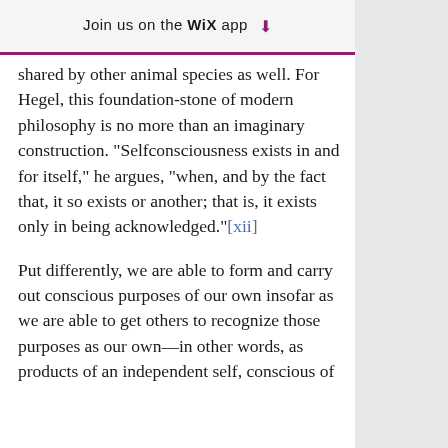Join us on the WiX app ↓
shared by other animal species as well. For Hegel, this foundation-stone of modern philosophy is no more than an imaginary construction. "Selfconsciousness exists in and for itself," he argues, "when, and by the fact that, it so exists or another; that is, it exists only in being acknowledged."[xii]
Put differently, we are able to form and carry out conscious purposes of our own insofar as we are able to get others to recognize those purposes as our own—in other words, as products of an independent self, conscious of